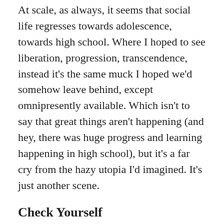At scale, as always, it seems that social life regresses towards adolescence, towards high school. Where I hoped to see liberation, progression, transcendence, instead it's the same muck I hoped we'd somehow leave behind, except omnipresently available. Which isn't to say that great things aren't happening (and hey, there was huge progress and learning happening in high school), but it's a far cry from the hazy utopia I'd imagined. It's just another scene.
Check Yourself
One of the things my wife has helped me grok more fully since we've been together is how my